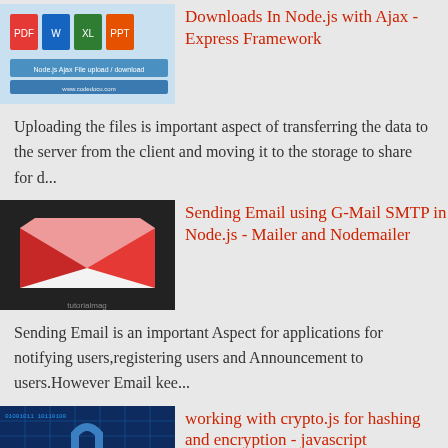[Figure (screenshot): Thumbnail image for Node.js Ajax file upload article]
Downloads In Node.js with Ajax - Express Framework
Uploading the files is important aspect of transferring the data to the server from the client and moving it to the storage to share for d...
[Figure (screenshot): Thumbnail image showing Gmail logo envelope icon for email article]
Sending Email using G-Mail SMTP in Node.js - Mailer and Nodemailer
Sending Email is an important Aspect for applications for notifying users,registering users and Announcement to users.However Email kee...
[Figure (screenshot): Thumbnail image showing padlock on digital background for crypto.js article]
working with crypto.js for hashing and encryption - javascript